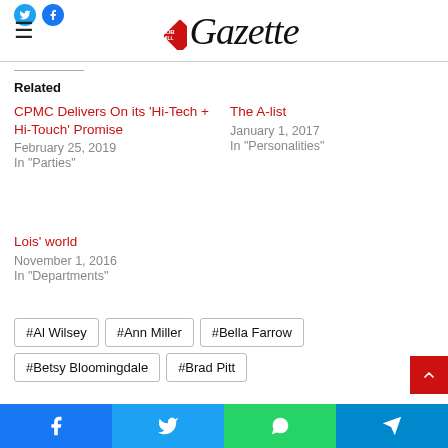Gazette
Related
CPMC Delivers On its 'Hi-Tech + Hi-Touch' Promise
February 25, 2019
In "Parties"
The A-list
January 1, 2017
In "Personalities"
Lois' world
November 1, 2016
In "Departments"
#Al Wilsey
#Ann Miller
#Bella Farrow
#Betsy Bloomingdale
#Brad Pitt
Share bar: Facebook, Twitter, WhatsApp, Telegram